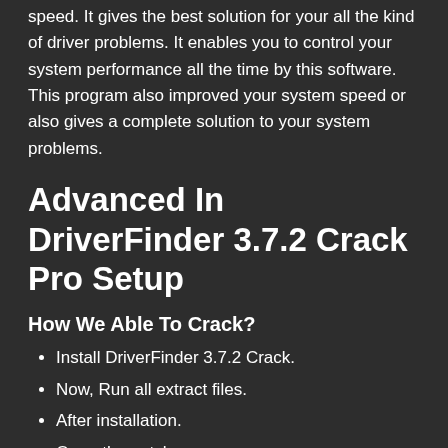speed. It gives the best solution for your all the kind of driver problems. It enables you to control your system performance all the time by this software. This program also improved your system speed or also gives a complete solution to your system problems.
Advanced In DriverFinder 3.7.2 Crack Pro Setup
How We Able To Crack?
Install DriverFinder 3.7.2 Crack.
Now, Run all extract files.
After installation.
Open the patch.
It's done.
File Window Printer...